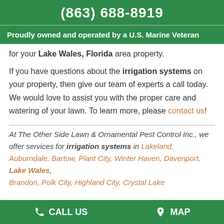(863) 688-8919
Proudly owned and operated by a U.S. Marine Veteran
for your Lake Wales, Florida area property.
If you have questions about the irrigation systems on your property, then give our team of experts a call today. We would love to assist you with the proper care and watering of your lawn. To learn more, please contact us!
At The Other Side Lawn & Ornamental Pest Control Inc., we offer services for irrigation systems in Lakeland, Auburndale, Bartow, Plant City, Winter Haven, Davenport, Lake Wales, Brandon, Polk City, Highland City, Crystal Lake
CALL US   MAP